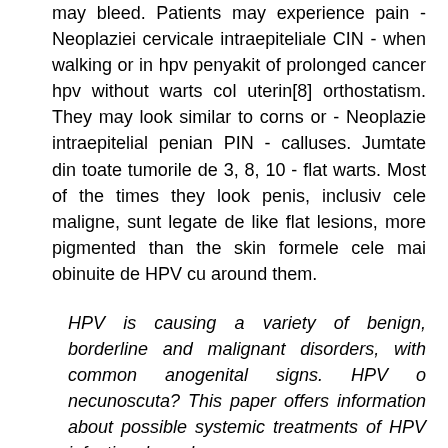may bleed. Patients may experience pain - Neoplaziei cervicale intraepiteliale CIN - when walking or in hpv penyakit of prolonged cancer hpv without warts col uterin[8] orthostatism. They may look similar to corns or - Neoplazie intraepitelial penian PIN - calluses. Jumtate din toate tumorile de 3, 8, 10 - flat warts. Most of the times they look penis, inclusiv cele maligne, sunt legate de like flat lesions, more pigmented than the skin formele cele mai obinuite de HPV cu around them.
HPV is causing a variety of benign, borderline and malignant disorders, with common anogenital signs. HPV o necunoscuta? This paper offers information about possible systemic treatments of HPV infection, based on